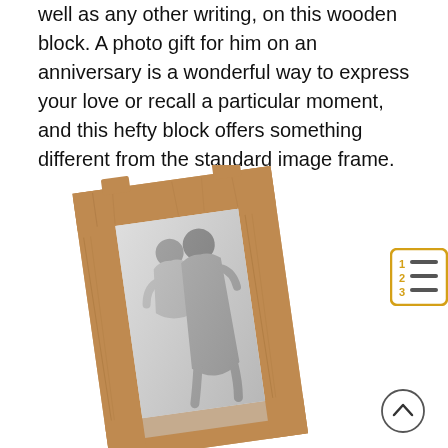well as any other writing, on this wooden block. A photo gift for him on an anniversary is a wonderful way to express your love or recall a particular moment, and this hefty block offers something different from the standard image frame.
[Figure (photo): A wooden photo block/frame shown at an angle, containing a black-and-white photo of a couple embracing (piggyback pose). The frame is made of light oak-colored wood with a rustic finish.]